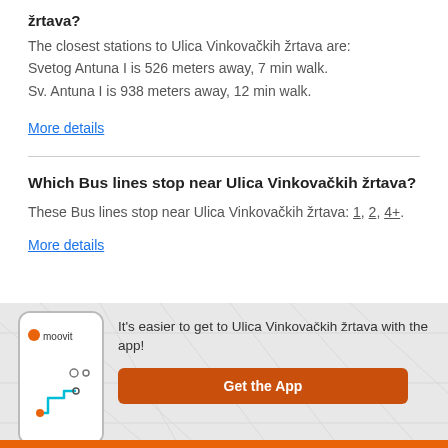žrtava?
The closest stations to Ulica Vinkovačkih žrtava are: Svetog Antuna I is 526 meters away, 7 min walk. Sv. Antuna I is 938 meters away, 12 min walk.
More details
Which Bus lines stop near Ulica Vinkovačkih žrtava?
These Bus lines stop near Ulica Vinkovačkih žrtava: 1, 2, 4+.
More details
[Figure (screenshot): Moovit app promotional banner with phone mockup showing a transit route map and Moovit logo, with text 'It's easier to get to Ulica Vinkovačkih žrtava with the app!' and an orange 'Get the App' button.]